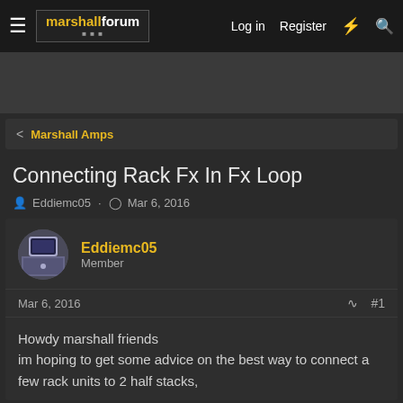marshallforum — Log in  Register
[Figure (screenshot): Marshall Forum logo]
Marshall Amps
Connecting Rack Fx In Fx Loop
Eddiemc05 · Mar 6, 2016
Eddiemc05
Member
Mar 6, 2016   #1
Howdy marshall friends
im hoping to get some advice on the best way to connect a few rack units to 2 half stacks,